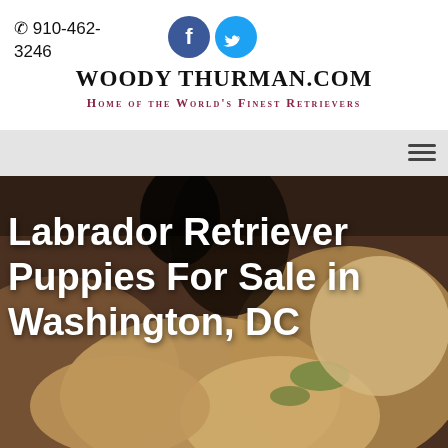910-462-3246
[Figure (logo): Facebook and Twitter social media icons (circular blue buttons with f and bird logos)]
WOODY THURMAN.COM
Home of the World’s Finest Retrievers
[Figure (screenshot): Navigation bar with hamburger menu icon on the right]
[Figure (photo): Hero background photo of Labrador Retriever puppies, dark warm-toned image]
Labrador Retriever Puppies For Sale in Washington, DC